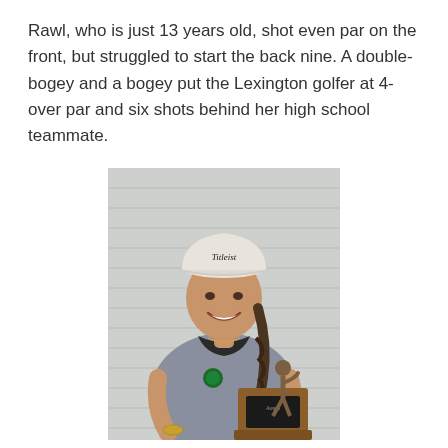Rawl, who is just 13 years old, shot even par on the front, but struggled to start the back nine. A double-bogey and a bogey put the Lexington golfer at 4-over par and six shots behind her high school teammate.
[Figure (photo): A young woman wearing a white Titleist cap and a grey polo shirt smiles while holding a bronze golf trophy on a wooden base. She has a long braid and is standing against a light grey wall.]